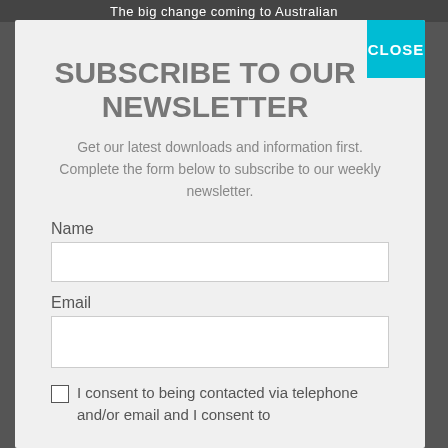The big change coming to Australian
SUBSCRIBE TO OUR NEWSLETTER
Get our latest downloads and information first. Complete the form below to subscribe to our weekly newsletter.
Name
Email
I consent to being contacted via telephone and/or email and I consent to